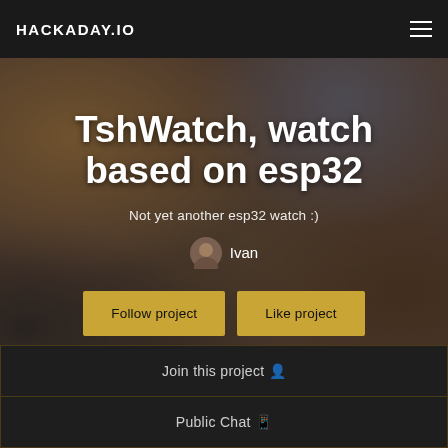HACKADAY.IO
TshWatch, watch based on esp32
Not yet another esp32 watch :)
Ivan
Follow project
Like project
Join this project 🧑
Public Chat 💬